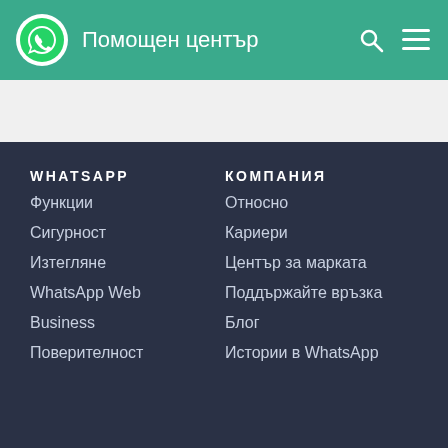Помощен център
WHATSAPP
Функции
Сигурност
Изтегляне
WhatsApp Web
Business
Поверителност
КОМПАНИЯ
Относно
Кариери
Център за марката
Поддържайте връзка
Блог
Истории в WhatsApp